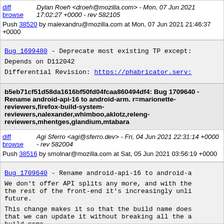diff browse | Dylan Roeh <droeh@mozilla.com> - Mon, 07 Jun 2021 17:02:27 +0000 - rev 582105
Push 38520 by malexandru@mozilla.com at Mon, 07 Jun 2021 21:46:37 +0000
Bug 1699480 - Deprecate most existing TP except:
Depends on D112042
Differential Revision: https://phabricator.serv...
b5eb71cf51d58da1616bf50fd04fcaa860494df4: Bug 1709640 - Rename android-api-16 to android-arm. r=marionette-reviewers,firefox-build-system-reviewers,nalexander,whimboo,aklotz,releng-reviewers,mhentges,glandium,mtabara
diff browse | Agi Sferro <agi@sferro.dev> - Fri, 04 Jun 2021 22:31:14 +0000 - rev 582004
Push 38516 by smolnar@mozilla.com at Sat, 05 Jun 2021 03:56:19 +0000
Bug 1709640 - Rename android-api-16 to android-a...
We don't offer API splits any more, and with the rest of the front-end it's increasingly unli future.
This change makes it so that the build name does that we can update it without breaking all the a build name.
Differential Revision: https://phabricator.serv...